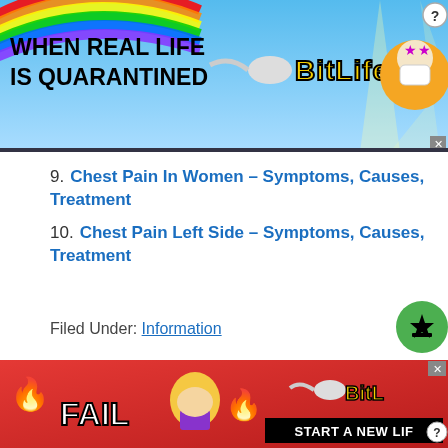[Figure (screenshot): Top advertisement banner for BitLife app showing rainbow background, text 'WHEN REAL LIFE IS QUARANTINED' and BitLife logo with masked character]
9. Chest Pain In Women – Symptoms, Causes, Treatment
10. Chest Pain Left Side – Symptoms, Causes, Treatment
Filed Under: Information
[Figure (screenshot): Bottom advertisement banner for BitLife app showing red background with 'FAIL' text, blonde animated character, flame emoji, BitLife logo, and 'START A NEW LIFE' text]